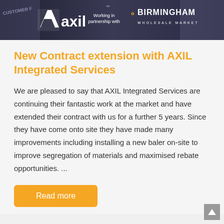[Figure (photo): Banner image showing AXIL Integrated Services logo with 'Working in partnership with' text and Birmingham Wholesale Market logo on a dark navy background with people in background]
New Contract extension with AXIL Integrated Services
We are pleased to say that AXIL Integrated Services are continuing their fantastic work at the market and have extended their contract with us for a further 5 years. Since they have come onto site they have made many improvements including installing a new baler on-site to improve segregation of materials and maximised rebate opportunities. ...
Read more